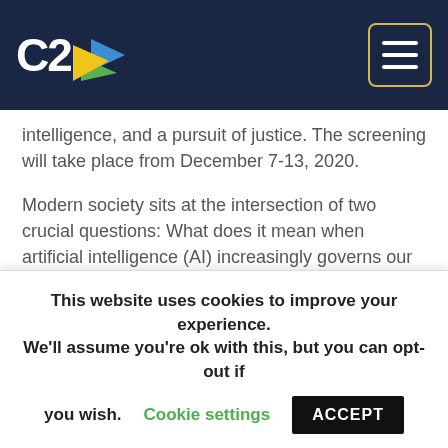C2 [logo with navigation hamburger menu]
intelligence, and a pursuit of justice. The screening will take place from December 7-13, 2020.
Modern society sits at the intersection of two crucial questions: What does it mean when artificial intelligence (AI) increasingly governs our liberties? And what are the consequences for the people AI is biased against?
'Coded Bias' follows MIT Media Lab researcher Joy Buolamwini's startling discovery that many facial recognition technologies fail more often on darker-skinned faces. Buolamwini delves into an investigation of
This website uses cookies to improve your experience. We'll assume you're ok with this, but you can opt-out if you wish. Cookie settings ACCEPT